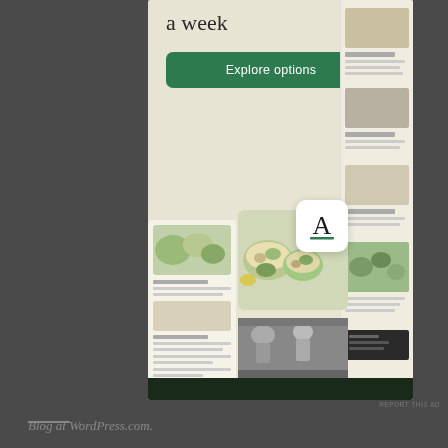a week
Explore options
[Figure (screenshot): Mobile app advertisement showing a food/recipe app with collage of food images, app icon with letter A, recipe lists, food photos including salads and bowls, black and white chef photo, and various recipe cards]
REPORT THIS AD
Blog at WordPress.com.